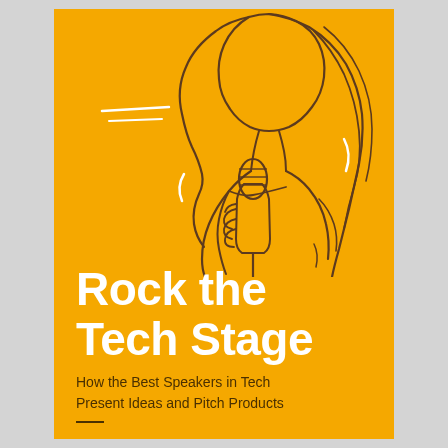[Figure (illustration): Line drawing illustration of a woman with long flowing hair holding a microphone, rendered in dark brown lines on a golden/amber background. Two white curved accent lines appear to the left suggesting motion or sound.]
Rock the Tech Stage
How the Best Speakers in Tech Present Ideas and Pitch Products
—